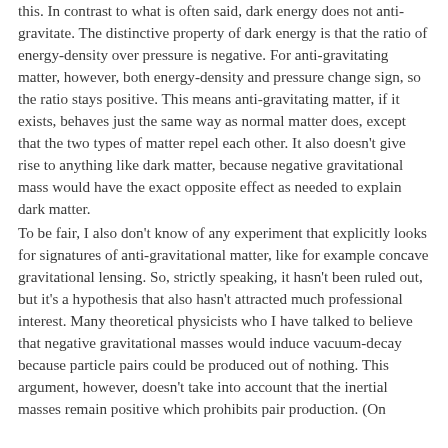this. In contrast to what is often said, dark energy does not anti-gravitate. The distinctive property of dark energy is that the ratio of energy-density over pressure is negative. For anti-gravitating matter, however, both energy-density and pressure change sign, so the ratio stays positive. This means anti-gravitating matter, if it exists, behaves just the same way as normal matter does, except that the two types of matter repel each other. It also doesn't give rise to anything like dark matter, because negative gravitational mass would have the exact opposite effect as needed to explain dark matter.
To be fair, I also don't know of any experiment that explicitly looks for signatures of anti-gravitational matter, like for example concave gravitational lensing. So, strictly speaking, it hasn't been ruled out, but it's a hypothesis that also hasn't attracted much professional interest. Many theoretical physicists who I have talked to believe that negative gravitational masses would induce vacuum-decay because particle pairs could be produced out of nothing. This argument, however, doesn't take into account that the inertial masses remain positive which prohibits pair production. (On